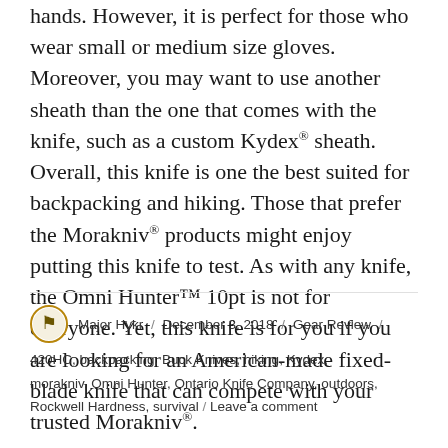hands. However, it is perfect for those who wear small or medium size gloves. Moreover, you may want to use another sheath than the one that comes with the knife, such as a custom Kydex® sheath. Overall, this knife is one the best suited for backpacking and hiking. Those that prefer the Morakniv® products might enjoy putting this knife to test. As with any knife, the Omni Hunter™ 10pt is not for everyone. Yet, this knife is for you if you are looking for an American-made fixed-blade knife that can compete with your trusted Morakniv®.
Major Hykr / December 3, 2018 / Gear Review / 420HC, backpacking, Buck Knives, hiking, Kydex, morakniv, Omni Hunter, Ontario Knife Company, outdoors, Rockwell Hardness, survival / Leave a comment